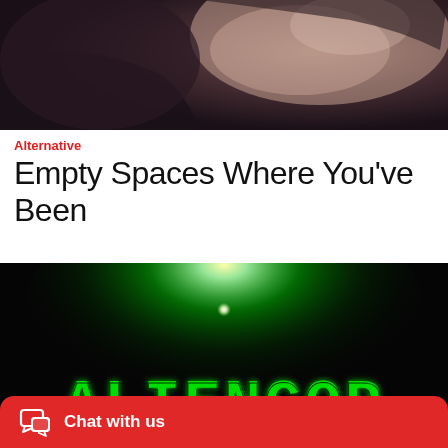[Figure (photo): Dark moody photo showing a person's arm and body in low light, dark background with brown/purple tones]
Alternative
Empty Spaces Where You've Been
[Figure (logo): ALIENCOP logo in bold green 3D letters on a dark background with a glowing green light source in the center behind the text]
Chat with us